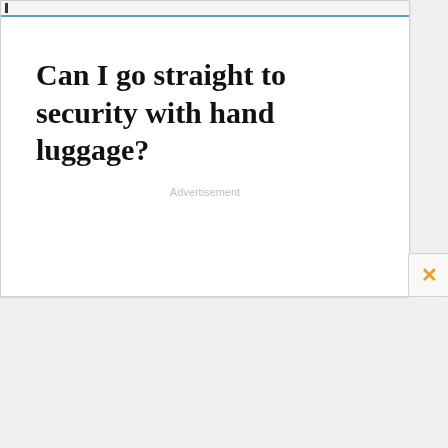Can I go straight to security with hand luggage?
Advertisement